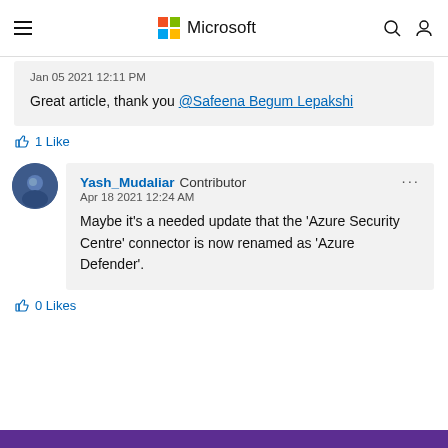Microsoft
Jan 05 2021 12:11 PM
Great article, thank you @Safeena Begum Lepakshi
1 Like
Yash_Mudaliar Contributor
Apr 18 2021 12:24 AM
Maybe it's a needed update that the 'Azure Security Centre' connector is now renamed as 'Azure Defender'.
0 Likes